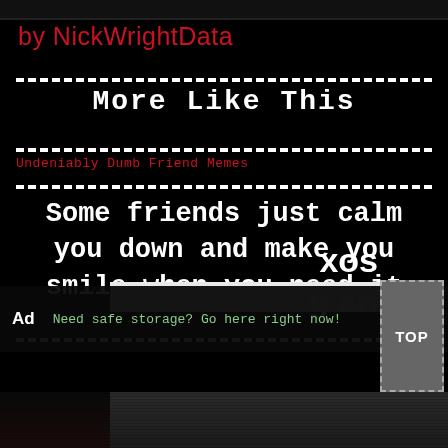by NickWrightData
More Like This
Undeniably Dumb Friend Memes
Some friends just calm you down and make you smile when you need it
Ad   Need safe storage? Go here right now!   xos  g an   TOP